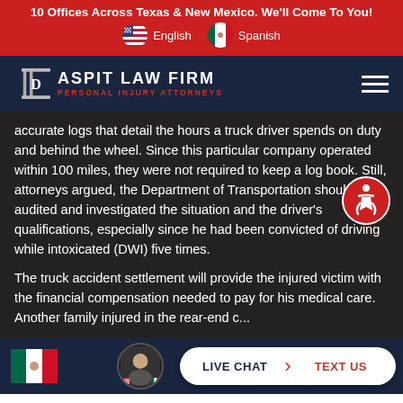10 Offices Across Texas & New Mexico. We'll Come To You!
English | Spanish
[Figure (logo): Daspit Law Firm Personal Injury Attorneys logo with pillar icon and navigation bar]
accurate logs that detail the hours a truck driver spends on duty and behind the wheel. Since this particular company operated within 100 miles, they were not required to keep a log book. Still, attorneys argued, the Department of Transportation should have audited and investigated the situation and the driver's qualifications, especially since he had been convicted of driving while intoxicated (DWI) five times.
The truck accident settlement will provide the injured victim with the financial compensation needed to pay for his medical care. Another family injured in the rear-end c... will ...the
LIVE CHAT | TEXT US